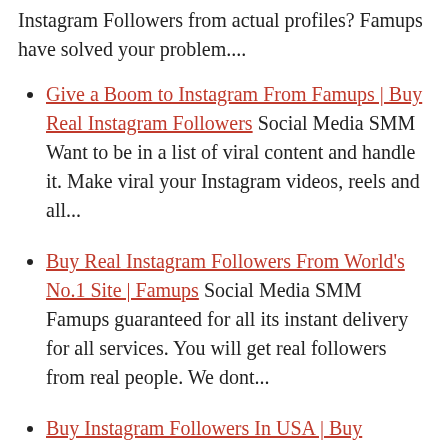Instagram Followers from actual profiles? Famups have solved your problem....
Give a Boom to Instagram From Famups | Buy Real Instagram Followers Social Media SMM Want to be in a list of viral content and handle it. Make viral your Instagram videos, reels and all...
Buy Real Instagram Followers From World's No.1 Site | Famups Social Media SMM Famups guaranteed for all its instant delivery for all services. You will get real followers from real people. We dont...
Buy Instagram Followers In USA | Buy Instagram Likes USA | HifyMedia Buy Sell Adverts Hifymedia is the best platform to